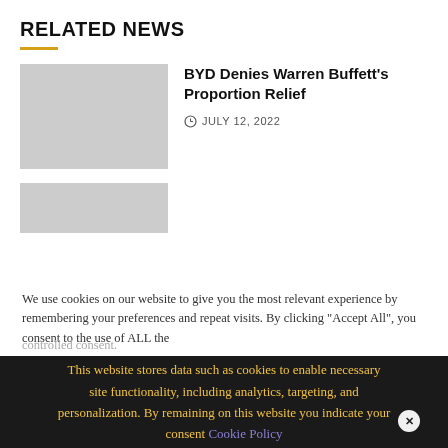RELATED NEWS
[Figure (photo): Gray placeholder thumbnail image for news article]
BYD Denies Warren Buffett's Proportion Relief
JULY 12, 2022
[Figure (photo): Gray placeholder thumbnail image for second news article (partially visible)]
We use cookies on our website to give you the most relevant experience by remembering your preferences and repeat visits. By clicking "Accept All", you consent to the use of ALL the controlled consent.
This website stores data such as cookies to enable necessary site functionality, including analytics, targeting, and personalization. By remaining on this website you indicate your consent Cookie Policy